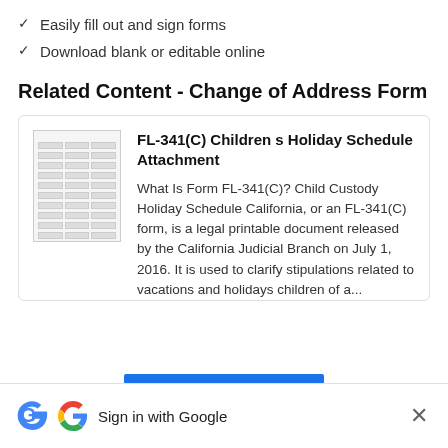✓  Easily fill out and sign forms
✓  Download blank or editable online
Related Content - Change of Address Form
[Figure (screenshot): Card showing FL-341(C) Children s Holiday Schedule Attachment form thumbnail and description text]
FL-341(C) Children s Holiday Schedule Attachment
What Is Form FL-341(C)? Child Custody Holiday Schedule California, or an FL-341(C) form, is a legal printable document released by the California Judicial Branch on July 1, 2016. It is used to clarify stipulations related to vacations and holidays children of a...
Sign in with Google